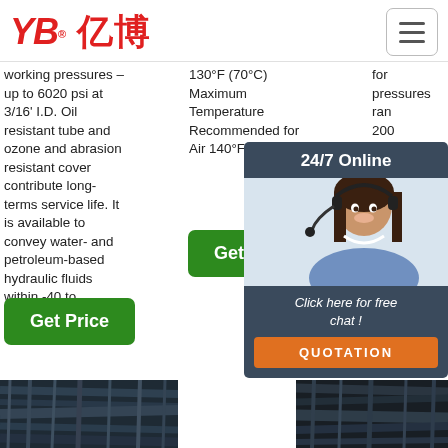YB亿博 logo and navigation
working pressures – up to 6020 psi at 3/16' I.D. Oil resistant tube and ozone and abrasion resistant cover contribute long-terms service life. It is available to convey water- and petroleum-based hydraulic fluids within -40 to …
130°F (70°C) Maximum Temperature Recommended for Air 140°F (60°C)
for pressures ranging from … 200… resistant… rubl…
[Figure (photo): 24/7 online customer service chat widget with photo of female agent wearing headset, dark background with 'Click here for free chat!' text and orange QUOTATION button]
[Figure (other): Orange TOP button with upward arrow dots icon]
[Figure (photo): Dark image of industrial hydraulic hoses/cables at bottom left]
[Figure (photo): Dark image of industrial hose/cable product at bottom right]